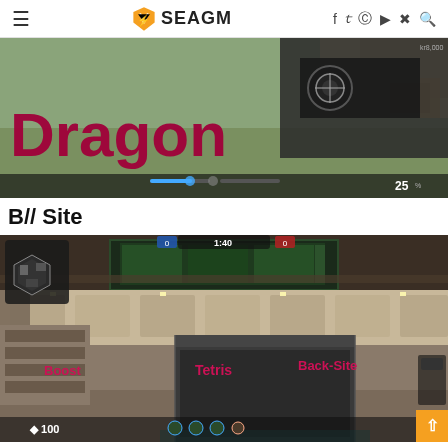SEAGM
[Figure (screenshot): Valorant gameplay screenshot showing a player holding a weapon on a map. Large pink/magenta text overlay reads 'Dragon'. HUD elements visible including health bar, ability icons, and score showing 25.]
B// Site
[Figure (screenshot): Valorant B Site screenshot showing the interior of the site with labeled callout positions in magenta text: 'Boost', 'Tetris', 'Back-Site'. A map minimap is visible in the top-left corner. HUD shows 1:40 timer and health 100.]